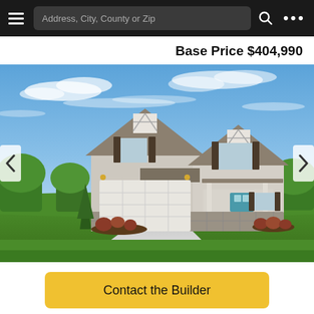Address, City, County or Zip
Base Price $404,990
[Figure (photo): Exterior photo of a new construction two-story craftsman-style house with gray/beige siding, dark brown shutters, a two-car garage, blue front door, stone accents, and manicured landscaping under a blue sky with clouds.]
Contact the Builder